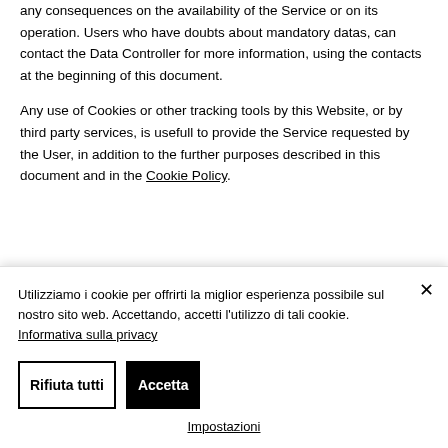any consequences on the availability of the Service or on its operation. Users who have doubts about mandatory datas, can contact the Data Controller for more information, using the contacts at the beginning of this document.
Any use of Cookies or other tracking tools by this Website, or by third party services, is usefull to provide the Service requested by the User, in addition to the further purposes described in this document and in the Cookie Policy.
Utilizziamo i cookie per offrirti la miglior esperienza possibile sul nostro sito web. Accettando, accetti l'utilizzo di tali cookie. Informativa sulla privacy
Rifiuta tutti
Accetta
Impostazioni